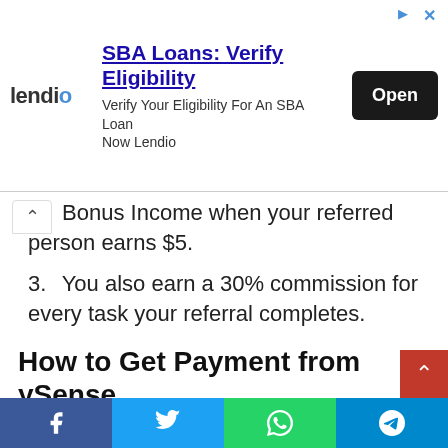[Figure (screenshot): Lendio advertisement banner: SBA Loans: Verify Eligibility — Verify Your Eligibility For An SBA Loan Now Lendio, with Open button]
2. Bonus Income when your referred person earns $5.
3. You also earn a 30% commission for every task your referral completes.
How to Get Payment from ySense
You will get paid via check, PayToo, and Payoneer (in some countries, like India) or by Tango Card. for individuals from India, it is better to have an account with Payoneer. You can sign up by
[Figure (screenshot): Social media share buttons bar: Facebook, Twitter, WhatsApp, Telegram]